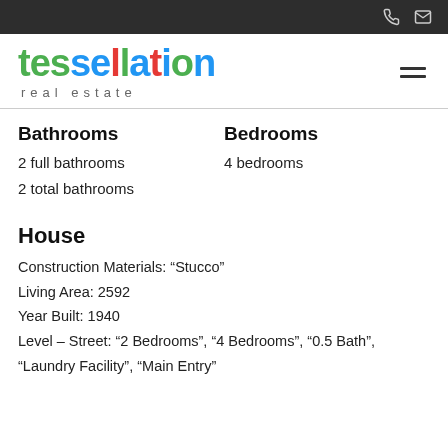tessellation real estate
Bathrooms
2 full bathrooms
2 total bathrooms
Bedrooms
4 bedrooms
House
Construction Materials: “Stucco”
Living Area: 2592
Year Built: 1940
Level – Street: “2 Bedrooms”, “4 Bedrooms”, “0.5 Bath”, “Laundry Facility”, “Main Entry”